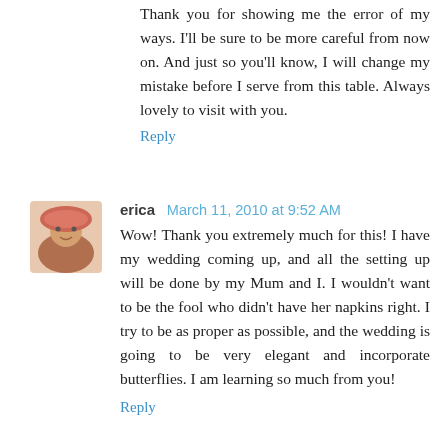Thank you for showing me the error of my ways. I'll be sure to be more careful from now on. And just so you'll know, I will change my mistake before I serve from this table. Always lovely to visit with you.
Reply
erica  March 11, 2010 at 9:52 AM
Wow! Thank you extremely much for this! I have my wedding coming up, and all the setting up will be done by my Mum and I. I wouldn't want to be the fool who didn't have her napkins right. I try to be as proper as possible, and the wedding is going to be very elegant and incorporate butterflies. I am learning so much from you!
Reply
living well  March 11, 2010 at 1:13 PM
What a wonderful post - I loved seeing all your different place settings. You have such a fantastic eye for coordinating things!